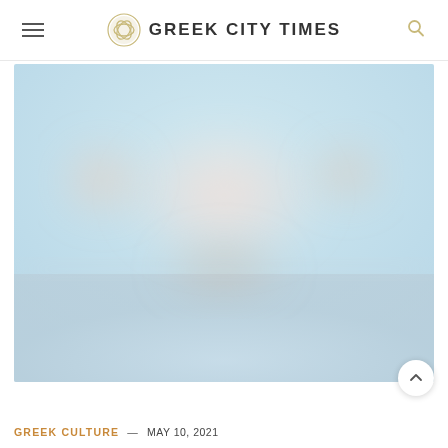GREEK CITY TIMES
[Figure (photo): A large blurred/soft-focus landscape photo with pastel tones — light blue sky, soft pink and beige blurred shapes suggesting trees or structures, reflections in water below, very dreamy and out-of-focus aesthetic.]
GREEK CULTURE — MAY 10, 2021